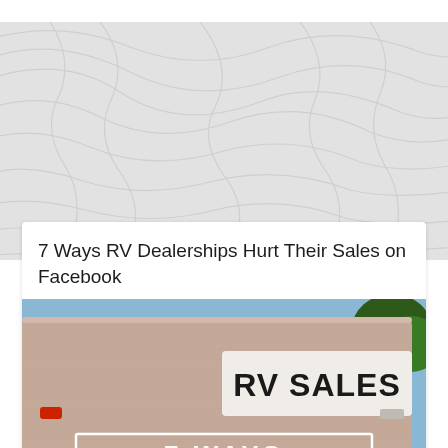[Figure (photo): Gray background with topographic contour line pattern]
7 Ways RV Dealerships Hurt Their Sales on Facebook
[Figure (photo): Photo of an old RV trailer with 'RV SALES' text on its side, and overlaid text reading '7 WAYS' at the bottom]